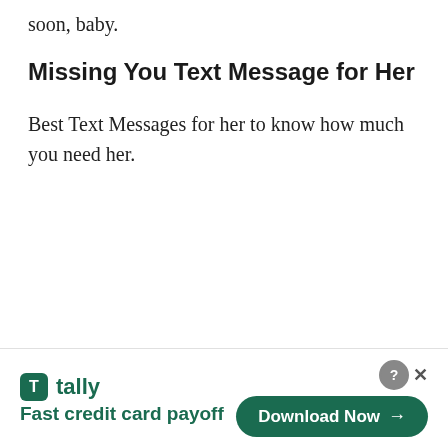soon, baby.
Missing You Text Message for Her
Best Text Messages for her to know how much you need her.
[Figure (infographic): Tally app advertisement banner at the bottom of the page. Shows Tally logo (green square with T), text 'tally' and 'Fast credit card payoff' in green, and a 'Download Now' button with arrow on the right. Close buttons (? and X) in top right corner.]